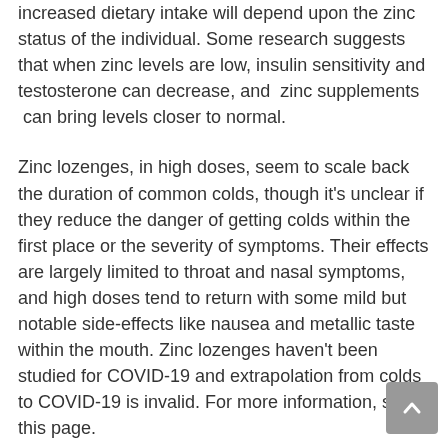increased dietary intake will depend upon the zinc status of the individual. Some research suggests that when zinc levels are low, insulin sensitivity and testosterone can decrease, and zinc supplements can bring levels closer to normal.
Zinc lozenges, in high doses, seem to scale back the duration of common colds, though it's unclear if they reduce the danger of getting colds within the first place or the severity of symptoms. Their effects are largely limited to throat and nasal symptoms, and high doses tend to return with some mild but notable side-effects like nausea and metallic taste within the mouth. Zinc lozenges haven't been studied for COVID-19 and extrapolation from colds to COVID-19 is invalid. For more information, see this page.